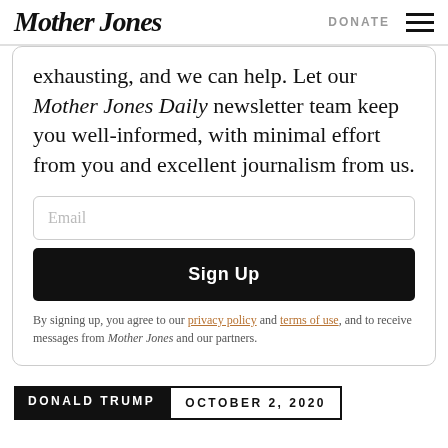Mother Jones | DONATE
exhausting, and we can help. Let our Mother Jones Daily newsletter team keep you well-informed, with minimal effort from you and excellent journalism from us.
Email
Sign Up
By signing up, you agree to our privacy policy and terms of use, and to receive messages from Mother Jones and our partners.
DONALD TRUMP  OCTOBER 2, 2020